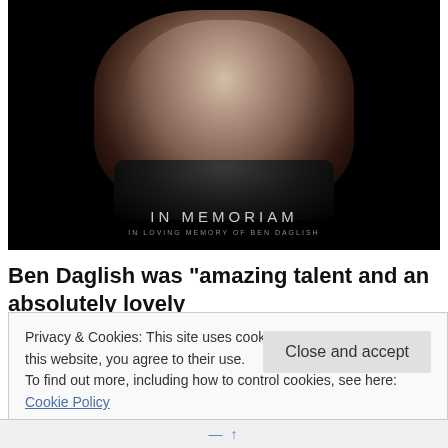[Figure (photo): Black and white portrait photo of a man with eyes closed, face illuminated against a dark background, with text 'IN MEMORIAM' at the bottom]
Ben Daglish was “amazing talent and an absolutely lovely
Privacy & Cookies: This site uses cookies. By continuing to use this website, you agree to their use.
To find out more, including how to control cookies, see here: Cookie Policy